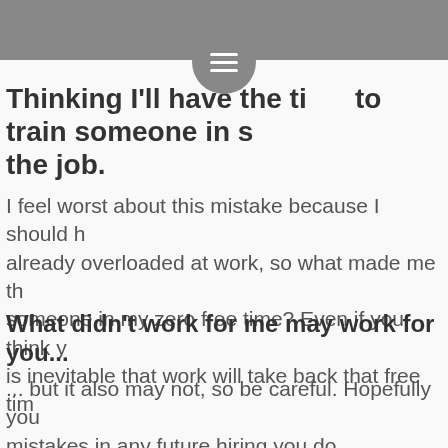☰
Thinking I'll have the time to train someone in s the job.
I feel worst about this mistake because I should h already overloaded at work, so what made me th someone in my zero free time? Even if you think y is inevitable that work will take back that free tim
What didn't work for me may work for you...
... but it also may not, so be careful. Hopefully you mistakes in any future hiring you do.